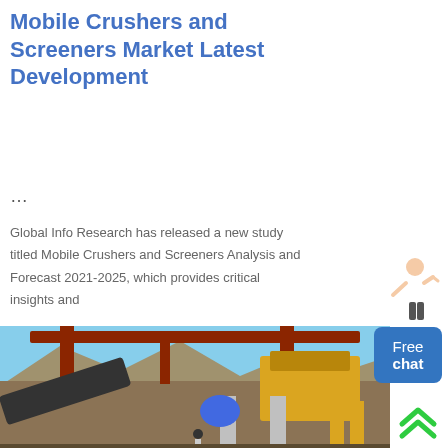Mobile Crushers and Screeners Market Latest Development
...
Global Info Research has released a new study titled Mobile Crushers and Screeners Analysis and Forecast 2021-2025, which provides critical insights and
[Figure (photo): Industrial mobile crusher and screener equipment at an outdoor site with mountains in background]
[Figure (illustration): Free chat widget with person figure and blue button showing Free chat]